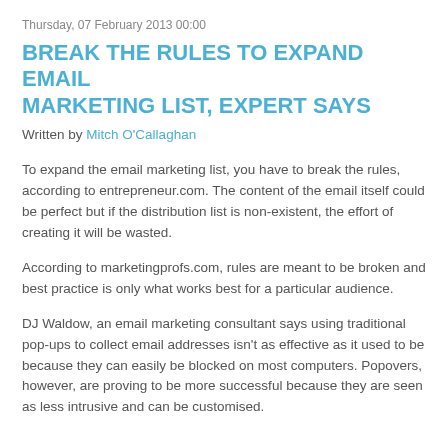Thursday, 07 February 2013 00:00
BREAK THE RULES TO EXPAND EMAIL MARKETING LIST, EXPERT SAYS
Written by Mitch O'Callaghan
To expand the email marketing list, you have to break the rules, according to entrepreneur.com. The content of the email itself could be perfect but if the distribution list is non-existent, the effort of creating it will be wasted.
According to marketingprofs.com, rules are meant to be broken and best practice is only what works best for a particular audience.
DJ Waldow, an email marketing consultant says using traditional pop-ups to collect email addresses isn't as effective as it used to be because they can easily be blocked on most computers. Popovers, however, are proving to be more successful because they are seen as less intrusive and can be customised.